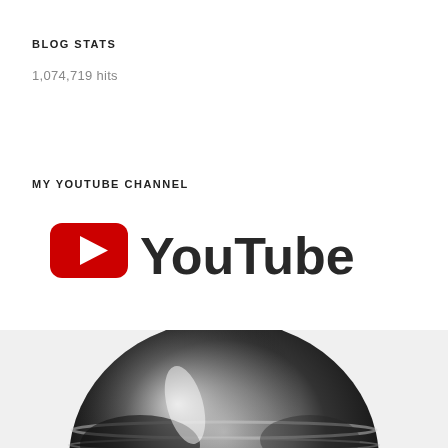BLOG STATS
1,074,719 hits
MY YOUTUBE CHANNEL
[Figure (logo): YouTube logo with red play button icon and 'YouTube' text in dark gray]
[Figure (photo): Close-up black and white photo of a microphone, partially cropped at bottom of page]